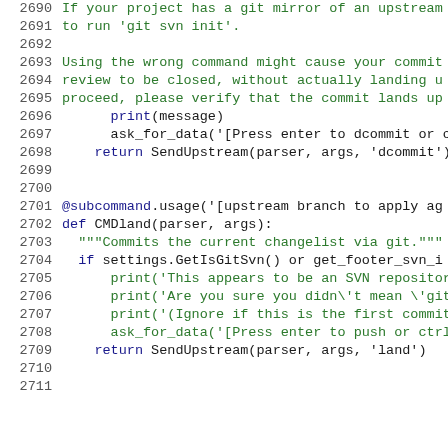Code listing lines 2690-2711, Python source code with git SVN and land command implementations